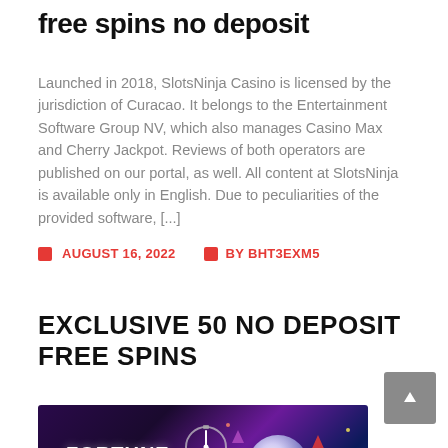free spins no deposit
Launched in 2018, SlotsNinja Casino is licensed by the jurisdiction of Curacao. It belongs to the Entertainment Software Group NV, which also manages Casino Max and Cherry Jackpot. Reviews of both operators are published on our portal, as well. All content at SlotsNinja is available only in English. Due to peculiarities of the provided software, [...]
AUGUST 16, 2022   BY BHT3EXM5
EXCLUSIVE 50 NO DEPOSIT FREE SPINS
[Figure (photo): Fortune Clock casino promotional banner with colorful gems and clock imagery on a dark purple/blue background]